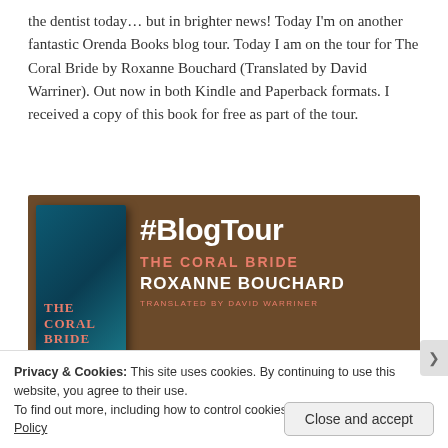the dentist today… but in brighter news! Today I'm on another fantastic Orenda Books blog tour. Today I am on the tour for The Coral Bride by Roxanne Bouchard (Translated by David Warriner). Out now in both Kindle and Paperback formats. I received a copy of this book for free as part of the tour.
[Figure (illustration): Blog tour banner for The Coral Bride by Roxanne Bouchard. Dark brown/amber background with book cover on left showing teal ocean cover. Right side shows '#BlogTour' in large white bold text, 'THE CORAL BRIDE' in salmon/coral colored uppercase text, 'ROXANNE BOUCHARD' in white bold uppercase, 'TRANSLATED BY DAVID WARRINER' in smaller salmon uppercase text.]
Privacy & Cookies: This site uses cookies. By continuing to use this website, you agree to their use.
To find out more, including how to control cookies, see here: Cookie Policy